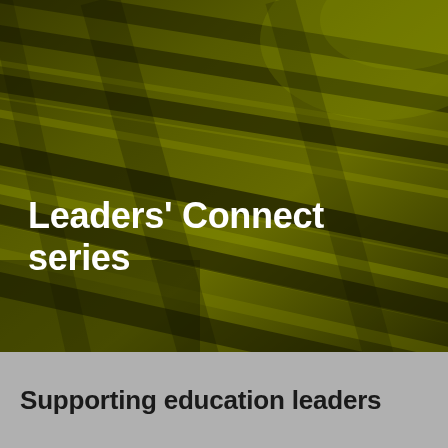[Figure (photo): Dark olive-green background photo showing folded or draped fabric with diagonal ridges and folds, creating a textured abstract pattern.]
Leaders' Connect series
Supporting education leaders